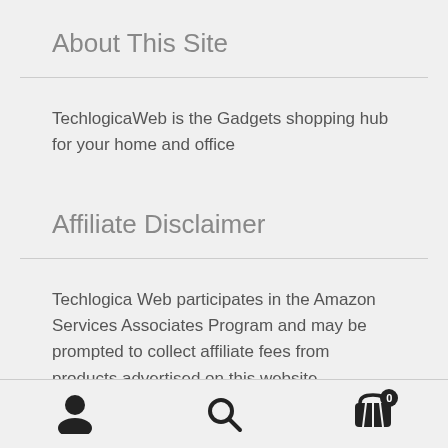About This Site
TechlogicaWeb is the Gadgets shopping hub for your home and office
Affiliate Disclaimer
Techlogica Web participates in the Amazon Services Associates Program and may be prompted to collect affiliate fees from products advertised on this website .
[user icon] [search icon] [cart icon with badge 0]